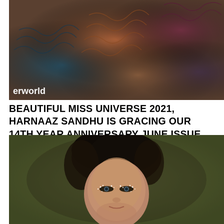[Figure (photo): Top portion of a fashion/editorial magazine cover or spread showing colorful ruffled fabric in teal, orange, maroon and dark tones. White text 'erworld' visible in lower left corner.]
BEAUTIFUL MISS UNIVERSE 2021, HARNAAZ SANDHU IS GRACING OUR 14TH YEAR ANNIVERSARY JUNE ISSUE
[Figure (photo): Portrait photo of Harnaaz Sandhu, Miss Universe 2021, with short dark hair, glitter/crystal eye makeup, against an olive/dark green background.]